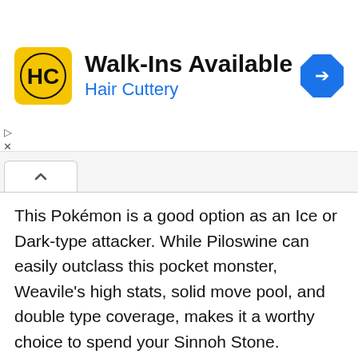[Figure (advertisement): Hair Cuttery ad banner with yellow logo, 'Walk-Ins Available' text, and blue navigation arrow icon]
This Pokémon is a good option as an Ice or Dark-type attacker. While Piloswine can easily outclass this pocket monster, Weavile's high stats, solid move pool, and double type coverage, makes it a worthy choice to spend your Sinnoh Stone.
A Weavile with Ice moves is on par with Glaceon, just slightly below the Ice Beam Mewtwo, and way better than Articuno, Lapras or Cloyster. A Weavile with Dark moves, on the other hand, often has higher